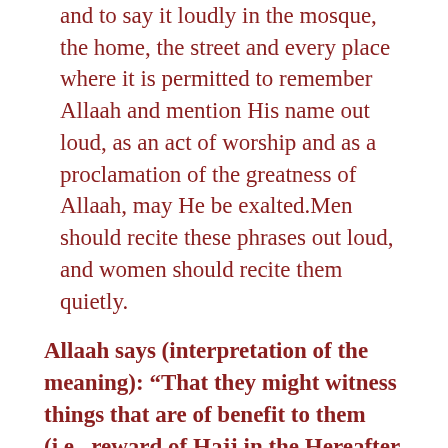and to say it loudly in the mosque, the home, the street and every place where it is permitted to remember Allaah and mention His name out loud, as an act of worship and as a proclamation of the greatness of Allaah, may He be exalted.Men should recite these phrases out loud, and women should recite them quietly.
Allaah says (interpretation of the meaning): “That they might witness things that are of benefit to them (i.e., reward of Hajj in the Hereafter, and also some worldly gain from trade, etc.), and mention the name of Allaah